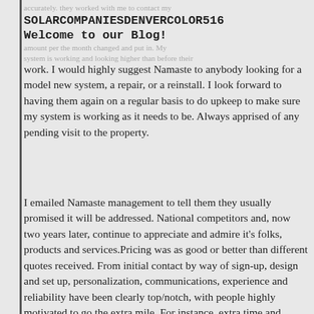accurately. they worked with me to contact my
SOLARCOMPANIESDENVERCOLOR516
Welcome to our Blog!
amount per the month changed and put in. My system is working and looking higher than before their
work. I would highly suggest Namaste to anybody looking for a model new system, a repair, or a reinstall. I look forward to having them again on a regular basis to do upkeep to make sure my system is working as it needs to be. Always apprised of any pending visit to the property.
I emailed Namaste management to tell them they usually promised it will be addressed. National competitors and, now two years later, continue to appreciate and admire it’s folks, products and services.Pricing was as good or better than different quotes received. From initial contact by way of sign-up, design and set up, personalization, communications, experience and reliability have been clearly top/notch, with people highly motivated to go the extra mile. For instance, extra time and supplies were expended to